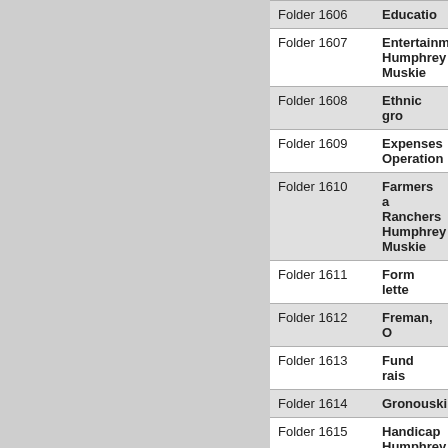| Folder | Title |
| --- | --- |
| Folder 1606 | Education |
| Folder 1607 | Entertaine Humphrey Muskie |
| Folder 1608 | Ethnic gro |
| Folder 1609 | Expenses Operation |
| Folder 1610 | Farmers a Ranchers Humphrey Muskie |
| Folder 1611 | Form lette |
| Folder 1612 | Freman, O |
| Folder 1613 | Fund rais |
| Folder 1614 | Gronouski |
| Folder 1615 | Handicap Humphrey Muskie |
| Folder 1616 | Huff (O |